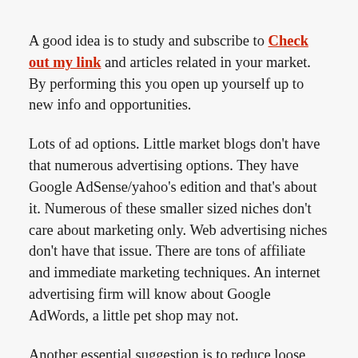A good idea is to study and subscribe to Check out my link and articles related in your market. By performing this you open up yourself up to new info and opportunities.
Lots of ad options. Little market blogs don't have that numerous advertising options. They have Google AdSense/yahoo's edition and that's about it. Numerous of these smaller sized niches don't care about marketing only. Web advertising niches don't have that issue. There are tons of affiliate and immediate marketing techniques. An internet advertising firm will know about Google AdWords, a little pet shop may not.
Another essential suggestion is to reduce loose from all negative influences in your life. Anybody